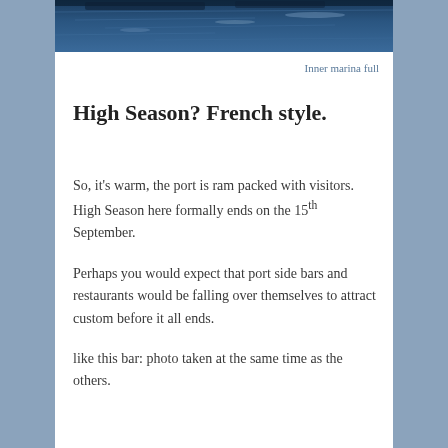[Figure (photo): Dark blue water of a marina, top portion of photo visible as a strip]
Inner marina full
High Season? French style.
So, it's warm, the port is ram packed with visitors. High Season here formally ends on the 15th September.
Perhaps you would expect that port side bars and restaurants would be falling over themselves to attract custom before it all ends.
like this bar: photo taken at the same time as the others.